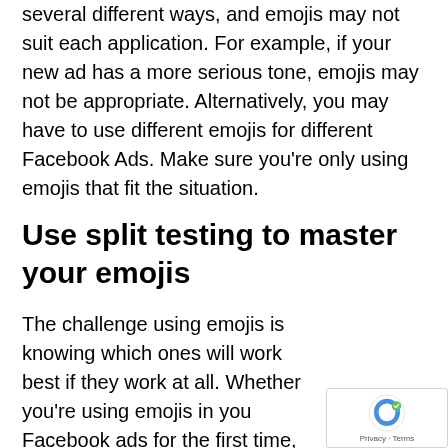several different ways, and emojis may not suit each application. For example, if your new ad has a more serious tone, emojis may not be appropriate. Alternatively, you may have to use different emojis for different Facebook Ads. Make sure you're only using emojis that fit the situation.
Use split testing to master your emojis
The challenge using emojis is knowing which ones will work best if they work at all. Whether you're using emojis in you Facebook ads for the first time, or you're testing a new creative, running split testing on your ads is a